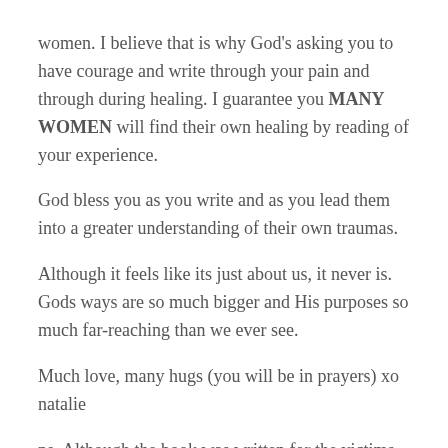women. I believe that is why God's asking you to have courage and write through your pain and through during healing. I guarantee you MANY WOMEN will find their own healing by reading of your experience.
God bless you as you write and as you lead them into a greater understanding of their own traumas.
Although it feels like its just about us, it never is. Gods ways are so much bigger and His purposes so much far-reaching than we ever see.
Much love, many hugs (you will be in prayers) xo natalie
ps. Although the book was written for the victims of sexual abuse, you may find many principles in it that help with emotional healing as well…
The Wounded Heart ~ Dr. Dan Allender
http://www.amazon.com/The-Wounded-Heart-